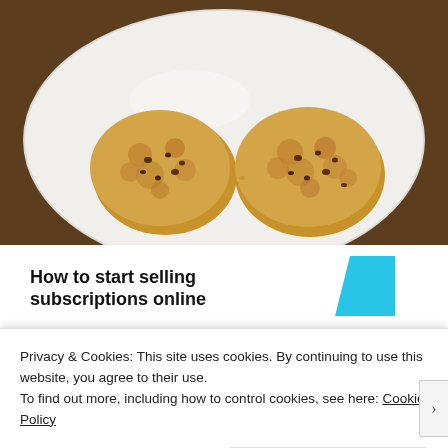[Figure (photo): Two oatmeal raisin cookies on a white plate, photographed from above on a wooden table background.]
How to start selling subscriptions online
Privacy & Cookies: This site uses cookies. By continuing to use this website, you agree to their use.
To find out more, including how to control cookies, see here: Cookie Policy
Close and accept